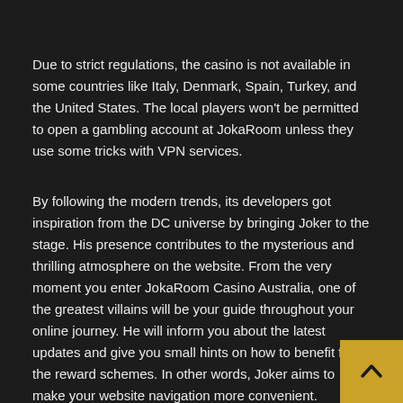Due to strict regulations, the casino is not available in some countries like Italy, Denmark, Spain, Turkey, and the United States. The local players won't be permitted to open a gambling account at JokaRoom unless they use some tricks with VPN services.
By following the modern trends, its developers got inspiration from the DC universe by bringing Joker to the stage. His presence contributes to the mysterious and thrilling atmosphere on the website. From the very moment you enter JokaRoom Casino Australia, one of the greatest villains will be your guide throughout your online journey. He will inform you about the latest updates and give you small hints on how to benefit from the reward schemes. In other words, Joker aims to make your website navigation more convenient.